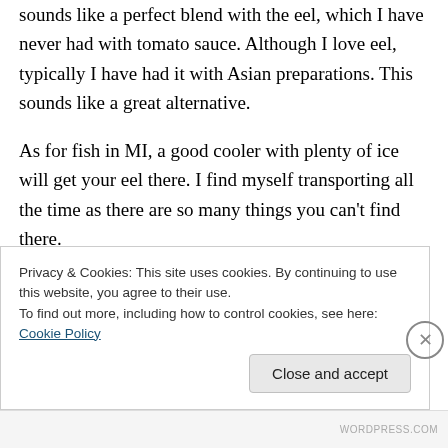sounds like a perfect blend with the eel, which I have never had with tomato sauce. Although I love eel, typically I have had it with Asian preparations. This sounds like a great alternative.
As for fish in MI, a good cooler with plenty of ice will get your eel there. I find myself transporting all the time as there are so many things you can't find there.
So. what else is on your holiday menu?
Privacy & Cookies: This site uses cookies. By continuing to use this website, you agree to their use.
To find out more, including how to control cookies, see here: Cookie Policy
Close and accept